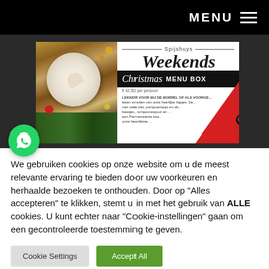MENU ☰
[Figure (screenshot): Spijshuys Weekends Christmas MENU BOX promotional banner with holiday decorations photo on left and text/logo on right, overlaid with red diagonal 'VERKOCHT' (sold) banner]
We gebruiken cookies op onze website om u de meest relevante ervaring te bieden door uw voorkeuren en herhaalde bezoeken te onthouden. Door op "Alles accepteren" te klikken, stemt u in met het gebruik van ALLE cookies. U kunt echter naar "Cookie-instellingen" gaan om een gecontroleerde toestemming te geven.
Cookie Settings
Accept All